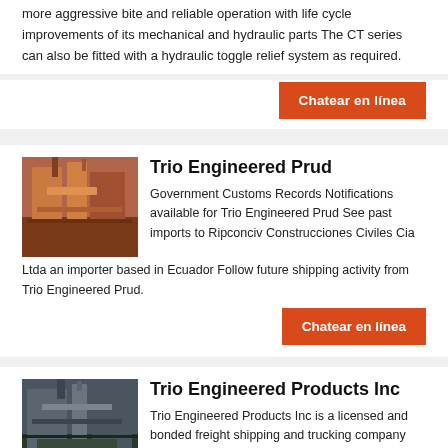more aggressive bite and reliable operation with life cycle improvements of its mechanical and hydraulic parts The CT series can also be fitted with a hydraulic toggle relief system as required.
Chatear en línea
Trio Engineered Prud
[Figure (photo): Industrial machinery or crusher equipment, orange/red colored]
Government Customs Records Notifications available for Trio Engineered Prud See past imports to Ripconciv Construcciones Civiles Cia Ltda an importer based in Ecuador Follow future shipping activity from Trio Engineered Prud.
Chatear en línea
Trio Engineered Products Inc
[Figure (photo): Industrial machinery or plant equipment in dark/grey tones]
Trio Engineered Products Inc is a licensed and bonded freight shipping and trucking company running freight hauling business from Irwindale California Trio Engineered Products Inc USDOT number is Trio Engineered Products Inc is trucking company
Chatear en línea